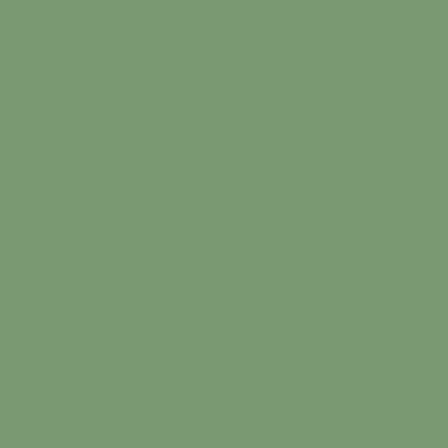development. Look around the global network which started more than 4 years ago. They organically developed & seen close co-operation of sites. it's not "splitting" it's growing and will doesn't continue to contribute to the nation up to them. more sites means more activists thus more social movements. Is not one of Ireland centralisation? in 2003 was I shit s lack of iunput from the poorest counties of question"? Is it shit-stirring now to point ou not one conrtibution has come from Ferma borders the poorest Irish counties (either s If they're not answering the call of a dublin "national site" maybe they'll involve with or
Now that is the last addition from me. Take (indymedia ireland general list)
Deirdre
by Miriam   Thu Sep 21, 2006 21:29
All you say really is that you dont like me w ok so far as it goes but really, when it come invective...
I have alluded to the well observed phenom women, previously unengaged in the discu sexism ,coming out of the woodwork to def